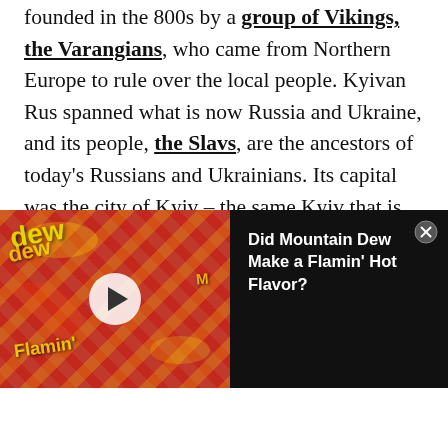founded in the 800s by a group of Vikings, the Varangians, who came from Northern Europe to rule over the local people. Kyivan Rus spanned what is now Russia and Ukraine, and its people, the Slavs, are the ancestors of today's Russians and Ukrainians. Its capital was the city of Kyiv – the same Kyiv that is now the capital of Ukraine. Moscow, capital of today's Russia, was also part of Kyivan Rus.
[Figure (screenshot): Advertisement banner showing Mountain Dew Flamin' Hot product packaging on the left (red/yellow design) with a play button overlay, and text 'Did Mountain Dew Make a Flamin' Hot Flavor?' on dark background on the right, with a close button.]